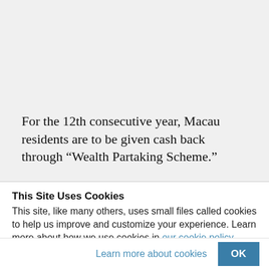For the 12th consecutive year, Macau residents are to be given cash back through “Wealth Partaking Scheme.”
This Site Uses Cookies
This site, like many others, uses small files called cookies to help us improve and customize your experience. Learn more about how we use cookies in our cookie policy.
Learn more about cookies   OK